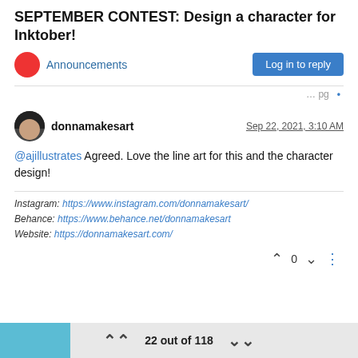SEPTEMBER CONTEST: Design a character for Inktober!
Announcements
Log in to reply
donnamakesart  Sep 22, 2021, 3:10 AM
@ajillustrates Agreed. Love the line art for this and the character design!
Instagram: https://www.instagram.com/donnamakesart/
Behance: https://www.behance.net/donnamakesart
Website: https://donnamakesart.com/
^ 0 v
22 out of 118